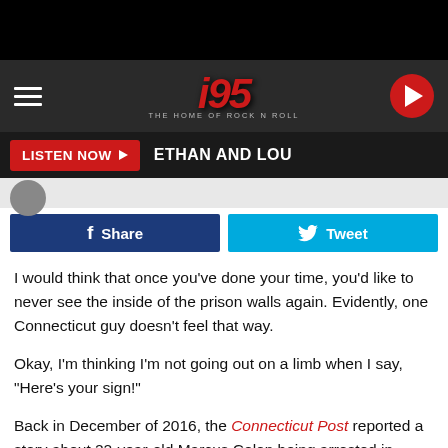[Figure (screenshot): i95 radio station website header with logo, hamburger menu, play button]
LISTEN NOW ▶   ETHAN AND LOU
[Figure (screenshot): Facebook Share and Twitter Tweet social buttons]
I would think that once you've done your time, you'd like to never see the inside of the prison walls again. Evidently, one Connecticut guy doesn't feel that way.
Okay, I'm thinking I'm not going out on a limb when I say, "Here's your sign!"
Back in December of 2016, the Connecticut Post reported a story about 22-year-old Marcus Colon being arrested in